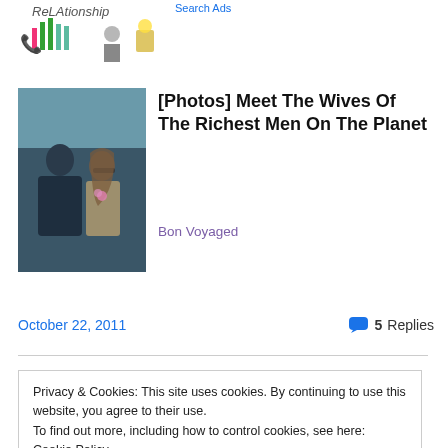[Figure (screenshot): Ad banner top area with 'ReLAtionship' text and icons including bar chart, phone, person with briefcase, book with lightbulb. 'Search Ads' link in blue.]
[Figure (photo): Photo of a man in a dark suit and a woman with long hair and sunglasses sitting together, possibly at a sporting event.]
[Photos] Meet The Wives Of The Richest Men On The Planet
Bon Voyaged
October 22, 2011
5 Replies
Privacy & Cookies: This site uses cookies. By continuing to use this website, you agree to their use.
To find out more, including how to control cookies, see here: Cookie Policy